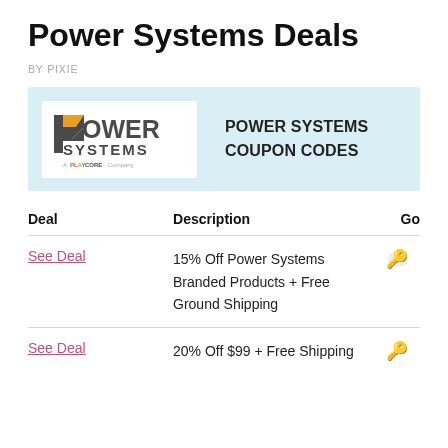Power Systems Deals
BY PIXIE
[Figure (logo): Power Systems logo — a PlayCore company, with orange/grey shield-arrow icon]
POWER SYSTEMS COUPON CODES
| Deal | Description | Go |
| --- | --- | --- |
| See Deal | 15% Off Power Systems Branded Products + Free Ground Shipping | 🔑 |
| See Deal | 20% Off $99 + Free Shipping | 🔑 |